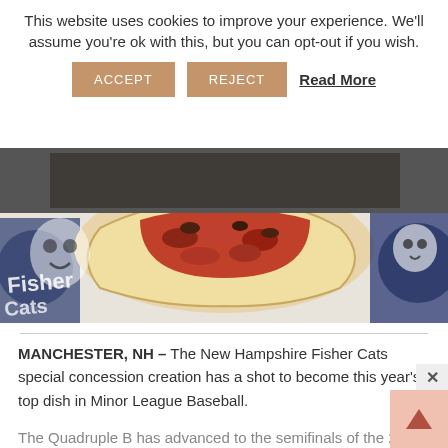This website uses cookies to improve your experience. We'll assume you're ok with this, but you can opt-out if you wish.
ACCEPT   REJECT   Read More
[Figure (photo): Close-up photo of a burrito or wrap filled with baked beans and meat, served on a paper wrapper with New Hampshire Fisher Cats baseball team branding.]
MANCHESTER, NH – The New Hampshire Fisher Cats special concession creation has a shot to become this year's top dish in Minor League Baseball.
The Quadruple B has advanced to the semifinals of the 2018 Bush's Baked Beans Home Run Recipes contest.